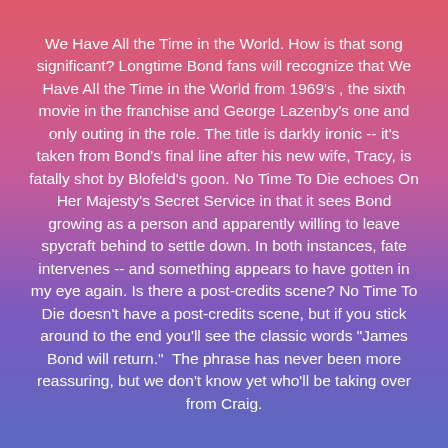We Have All the Time in the World. How is that song significant? Longtime Bond fans will recognize that We Have All the Time in the World from 1969's , the sixth movie in the franchise and George Lazenby's one and only outing in the role. The title is darkly ironic -- it's taken from Bond's final line after his new wife, Tracy, is fatally shot by Blofeld's goon. No Time To Die echoes On Her Majesty's Secret Service in that it sees Bond growing as a person and apparently willing to leave spycraft behind to settle down. In both instances, fate intervenes -- and something appears to have gotten in my eye again. Is there a post-credits scene? No Time To Die doesn't have a post-credits scene, but if you stick around to the end you'll see the classic words "James Bond will return." The phrase has never been more reassuring, but we don't know yet who'll be taking over from Craig.